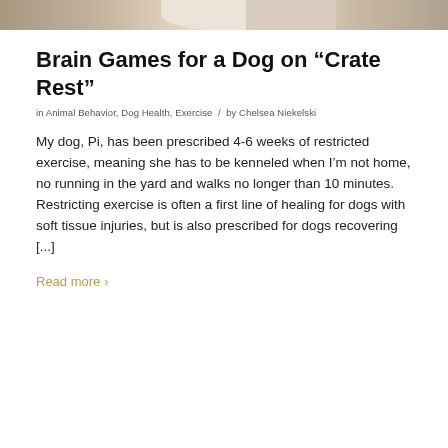[Figure (photo): Partial view of dogs, likely two dogs close together, cropped at the top of the page]
Brain Games for a Dog on "Crate Rest"
in Animal Behavior, Dog Health, Exercise  /  by Chelsea Niekelski
My dog, Pi, has been prescribed 4-6 weeks of restricted exercise, meaning she has to be kenneled when I'm not home, no running in the yard and walks no longer than 10 minutes. Restricting exercise is often a first line of healing for dogs with soft tissue injuries, but is also prescribed for dogs recovering [...]
Read more >